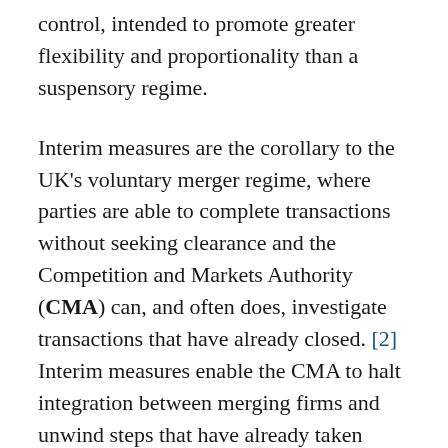control, intended to promote greater flexibility and proportionality than a suspensory regime.
Interim measures are the corollary to the UK's voluntary merger regime, where parties are able to complete transactions without seeking clearance and the Competition and Markets Authority (CMA) can, and often does, investigate transactions that have already closed. [2] Interim measures enable the CMA to halt integration between merging firms and unwind steps that have already taken place in order to prevent pre-emptive action (i.e., to prevent steps that might affect the CMA's ability to carry out its investigation or impose remedies if needed) [3] and to preserve a market's pre-merger